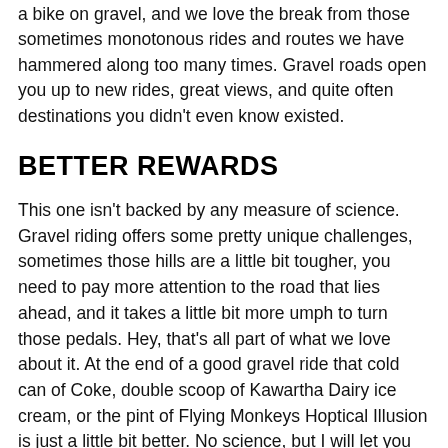a bike on gravel, and we love the break from those sometimes monotonous rides and routes we have hammered along too many times. Gravel roads open you up to new rides, great views, and quite often destinations you didn't even know existed.
BETTER REWARDS
This one isn't backed by any measure of science. Gravel riding offers some pretty unique challenges, sometimes those hills are a little bit tougher, you need to pay more attention to the road that lies ahead, and it takes a little bit more umph to turn those pedals. Hey, that's all part of what we love about it. At the end of a good gravel ride that cold can of Coke, double scoop of Kawartha Dairy ice cream, or the pint of Flying Monkeys Hoptical Illusion is just a little bit better. No science, but I will let you make your own conclusion on this one.